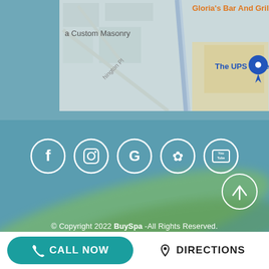[Figure (map): Partial Google Maps view showing 'a Custom Masonry', 'Gloria's Bar And Grill' (in orange), 'The UPS Store' with blue map pin marker, and street/road elements on a light grey/beige map background.]
[Figure (illustration): Five social media icon circles (white outlined circles on teal/blue background): Facebook (f), Instagram (camera), Google (G), Yelp (star/flower), YouTube (play button with 'You Tube' text).]
© Copyright 2022 BuySpa -All Rights Reserved.
[Figure (illustration): White circle with upward arrow (scroll-to-top button) in the lower right area.]
CALL NOW
DIRECTIONS